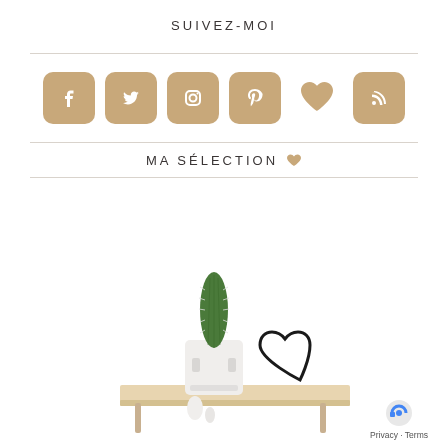SUIVEZ-MOI
[Figure (infographic): Six social media icons in golden/tan color: Facebook, Twitter, Instagram, Pinterest, Heart (favorites), RSS feed]
MA SÉLECTION ♥
[Figure (photo): A small cactus in a white square pot sitting on a wooden shelf, with a black wire heart decoration and white ceramic figure below]
Privacy · Terms